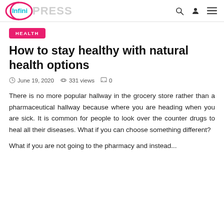InfiniPRESS
HEALTH
How to stay healthy with natural health options
June 19, 2020  331 views  0
There is no more popular hallway in the grocery store rather than a pharmaceutical hallway because where you are heading when you are sick. It is common for people to look over the counter drugs to heal all their diseases. What if you can choose something different?
What if...